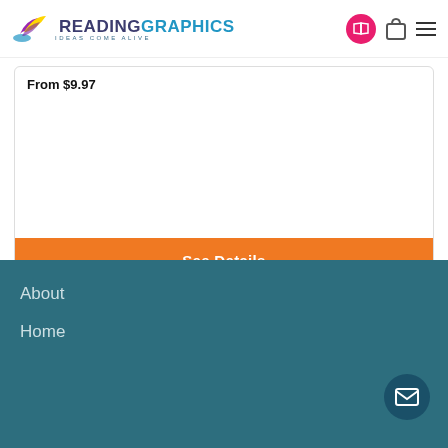READINGRAPHICS Ideas Come Alive
From $9.97
[Figure (screenshot): Orange See Details button on product card]
About
Home